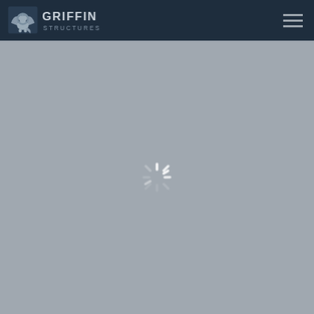[Figure (logo): Griffin Structures logo: winged lion emblem on left, text GRIFFIN STRUCTURES on right, white/silver on dark navy background]
[Figure (other): Hamburger menu icon (three horizontal lines) in top right corner of dark navy header bar]
[Figure (other): Loading spinner graphic centered on a gray background page body, indicating page content is loading]